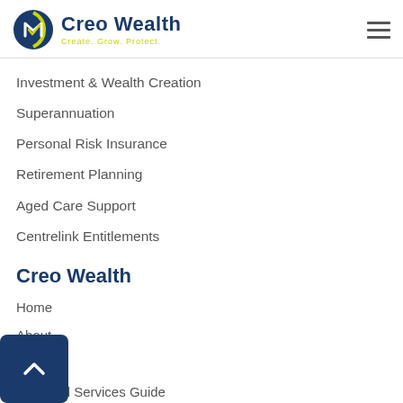Creo Wealth — Create. Grow. Protect.
Investment & Wealth Creation
Superannuation
Personal Risk Insurance
Retirement Planning
Aged Care Support
Centrelink Entitlements
Creo Wealth
Home
About
Contact
Financial Services Guide
s and Conditions
cy Policy